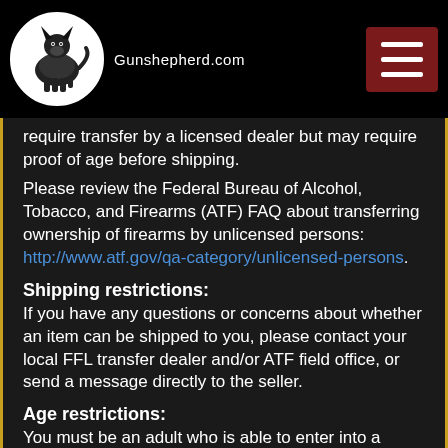Gunshepherd.com
require transfer by a licensed dealer but may require proof of age before shipping. Please review the Federal Bureau of Alcohol, Tobacco, and Firearms (ATF) FAQ about transferring ownership of firearms by unlicensed persons: http://www.atf.gov/qa-category/unlicensed-persons.
Shipping restrictions:
If you have any questions or concerns about whether an item can be shipped to you, please contact your local FFL transfer dealer and/or ATF field office, or send a message directly to the seller.
Age restrictions:
You must be an adult who is able to enter into a contract. There are age limits on the sale of certain items. The seller will ask you to verify your agebefore